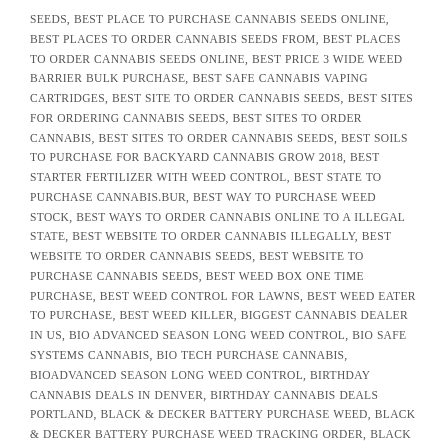SEEDS, BEST PLACE TO PURCHASE CANNABIS SEEDS ONLINE, BEST PLACES TO ORDER CANNABIS SEEDS FROM, BEST PLACES TO ORDER CANNABIS SEEDS ONLINE, BEST PRICE 3 WIDE WEED BARRIER BULK PURCHASE, BEST SAFE CANNABIS VAPING CARTRIDGES, BEST SITE TO ORDER CANNABIS SEEDS, BEST SITES FOR ORDERING CANNABIS SEEDS, BEST SITES TO ORDER CANNABIS, BEST SITES TO ORDER CANNABIS SEEDS, BEST SOILS TO PURCHASE FOR BACKYARD CANNABIS GROW 2018, BEST STARTER FERTILIZER WITH WEED CONTROL, BEST STATE TO PURCHASE CANNABIS.BUR, BEST WAY TO PURCHASE WEED STOCK, BEST WAYS TO ORDER CANNABIS ONLINE TO A ILLEGAL STATE, BEST WEBSITE TO ORDER CANNABIS ILLEGALLY, BEST WEBSITE TO ORDER CANNABIS SEEDS, BEST WEBSITE TO PURCHASE CANNABIS SEEDS, BEST WEED BOX ONE TIME PURCHASE, BEST WEED CONTROL FOR LAWNS, BEST WEED EATER TO PURCHASE, BEST WEED KILLER, BIGGEST CANNABIS DEALER IN US, BIO ADVANCED SEASON LONG WEED CONTROL, BIO SAFE SYSTEMS CANNABIS, BIO TECH PURCHASE CANNABIS, BIOADVANCED SEASON LONG WEED CONTROL, BIRTHDAY CANNABIS DEALS IN DENVER, BIRTHDAY CANNABIS DEALS PORTLAND, BLACK & DECKER BATTERY PURCHASE WEED, BLACK & DECKER BATTERY PURCHASE WEED TRACKING ORDER, BLACK FRIDAY CANNABIS DEALS, BLACK FRIDAY CANNABIS DEALS NEAR ME, BLACK FRIDAY CANNABIS SEED DEALS, BLACK FRIDAY CANNABIS SEED SALE, BLACK SPOT ON CANNABIS SAFE TO SMOKE, BLOOM CANNABIS WEEKLY DEALS, BLOOMING DEALS BY CANNABIS NATION, BLOOMING DEALS BY CANNABIS NATION DI, BLOOMING DEALS BY CANNABIS NATION